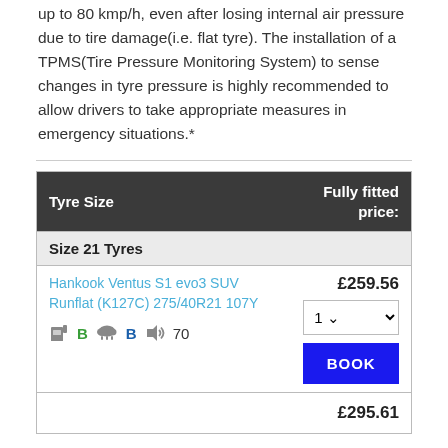up to 80 kmp/h, even after losing internal air pressure due to tire damage(i.e. flat tyre). The installation of a TPMS(Tire Pressure Monitoring System) to sense changes in tyre pressure is highly recommended to allow drivers to take appropriate measures in emergency situations.*
| Tyre Size | Fully fitted price: |
| --- | --- |
| Size 21 Tyres |  |
| Hankook Ventus S1 evo3 SUV Runflat (K127C) 275/40R21 107Y [icons] | £259.56 [qty:1] [BOOK] |
|  | £295.61 |